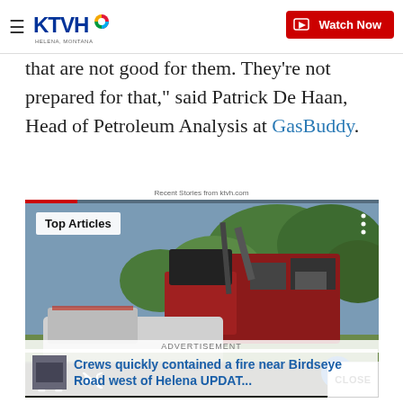KTVH | Watch Now
that are not good for them. They're not prepared for that," said Patrick De Haan, Head of Petroleum Analysis at GasBuddy.
Recent Stories from ktvh.com
[Figure (screenshot): Video player showing a fire truck scene with Top Articles overlay badge, video playback controls (pause and mute icons), a progress bar at top, and a close button. An advertisement bar and a linked article strip (Crews quickly contained a fire near Birdseye Road west of Helena UPDAT...) are overlaid at the bottom.]